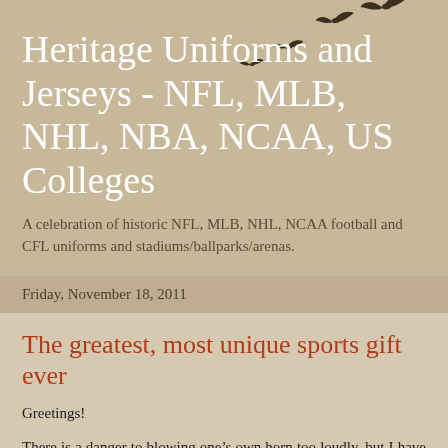Heritage Uniforms and Jerseys - NFL, MLB, NHL, NBA, NCAA, US Colleges
A celebration of historic NFL, MLB, NHL, NCAA football and CFL uniforms and stadiums/ballparks/arenas.
Friday, November 18, 2011
The greatest, most unique sports gift ever
Greetings!
There is a danger to blowing one’s own horn too loudly, but I have to take three minutes and tell you about what I truly feel is one of the greatest sports gifts anyone could give or receive. You can see what I am talking about here at